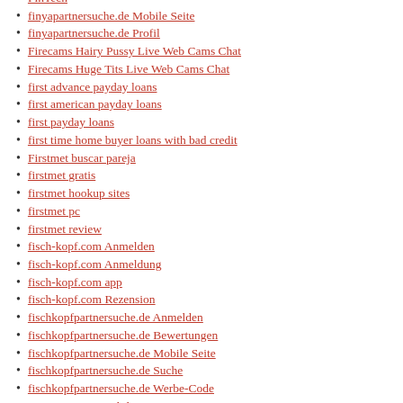FinTech
finyapartnersuche.de Mobile Seite
finyapartnersuche.de Profil
Firecams Hairy Pussy Live Web Cams Chat
Firecams Huge Tits Live Web Cams Chat
first advance payday loans
first american payday loans
first payday loans
first time home buyer loans with bad credit
Firstmet buscar pareja
firstmet gratis
firstmet hookup sites
firstmet pc
firstmet review
fisch-kopf.com Anmelden
fisch-kopf.com Anmeldung
fisch-kopf.com app
fisch-kopf.com Rezension
fischkopfpartnersuche.de Anmelden
fischkopfpartnersuche.de Bewertungen
fischkopfpartnersuche.de Mobile Seite
fischkopfpartnersuche.de Suche
fischkopfpartnersuche.de Werbe-Code
Fitness Dating mobile site
Fitness Dating review
Fitness Dating tips